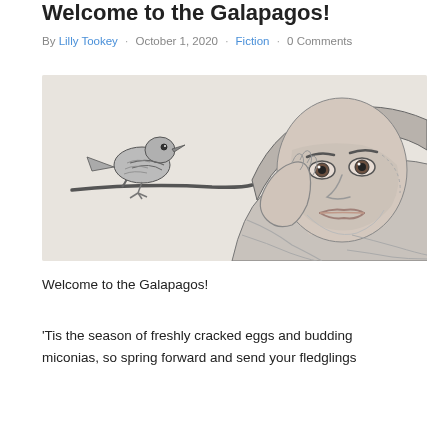Welcome to the Galapagos!
By Lilly Tookey · October 1, 2020 · Fiction · 0 Comments
[Figure (illustration): Pencil sketch illustration showing a young person wearing a hoodie with their hand raised near their face, and a bird perched on a branch in the foreground.]
Welcome to the Galapagos!
'Tis the season of freshly cracked eggs and budding miconias, so spring forward and send your fledglings